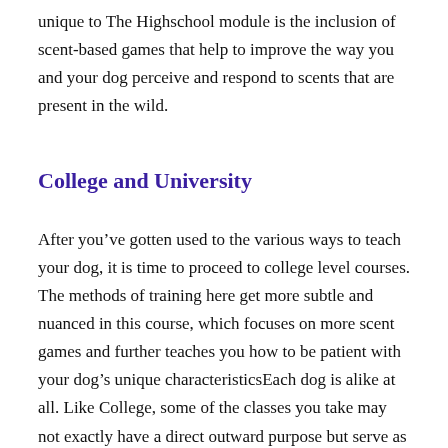unique to The Highschool module is the inclusion of scent-based games that help to improve the way you and your dog perceive and respond to scents that are present in the wild.
College and University
After you’ve gotten used to the various ways to teach your dog, it is time to proceed to college level courses. The methods of training here get more subtle and nuanced in this course, which focuses on more scent games and further teaches you how to be patient with your dog’s unique characteristicsEach dog is alike at all. Like College, some of the classes you take may not exactly have a direct outward purpose but serve as foundational building blocks towards better habits and understanding.
The University module is a great way to kick things up a notch. It gives you a glimpse into more specific functions and commands